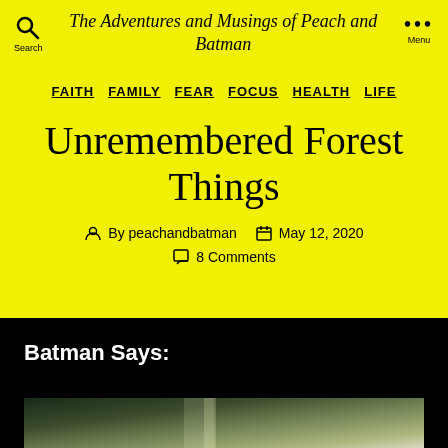The Adventures and Musings of Peach and Batman
FAITH  FAMILY  FEAR  FOCUS  HEALTH  LIFE
Unremembered Forest Things
By peachandbatman  May 12, 2020  8 Comments
Batman Says:
[Figure (photo): Forest scene with light rays filtering through trees]